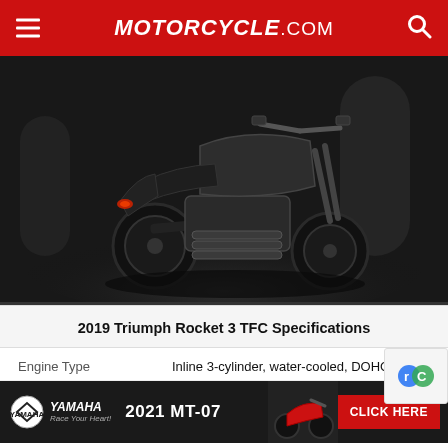MOTORCYCLE.COM
[Figure (photo): 2019 Triumph Rocket 3 TFC motorcycle photographed from the rear-left angle in a dark studio setting, showing the large black cruiser with chrome exhaust pipes and wide rear tire.]
2019 Triumph Rocket 3 TFC Specifications
|  |  |
| --- | --- |
| Engine Type | Inline 3-cylinder, water-cooled, DOHC |
[Figure (other): Yamaha 2021 MT-07 advertisement banner with Yamaha logo, motorcycle image, and CLICK HERE button]